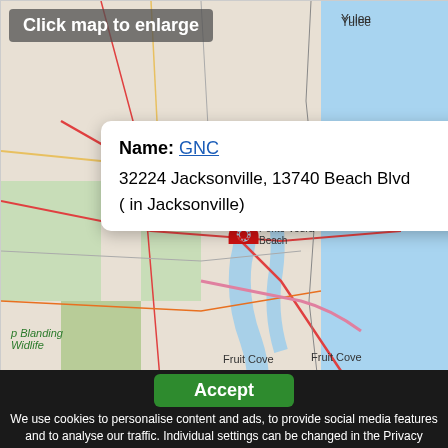[Figure (map): OpenStreetMap showing Jacksonville, FL area with a red phone/location pin marker near Jacksonville Beach. Shows Yulee to the north, Ponte Vedra Beach to the east, Fruit Cove to the south, and Camp Blanding Wildlife to the west.]
Click map to enlarge
Name: GNC
32224 Jacksonville, 13740 Beach Blvd
( in Jacksonville)
© OpenStreetMap
p Blanding
Widlife
Accept
We use cookies to personalise content and ads, to provide social media features and to analyse our traffic. Individual settings can be changed in the Privacy Policy. We do not support the Do Not Track browser option (CalOPPA). Further Information
some... us on their health. we want to deliver the cutting edge